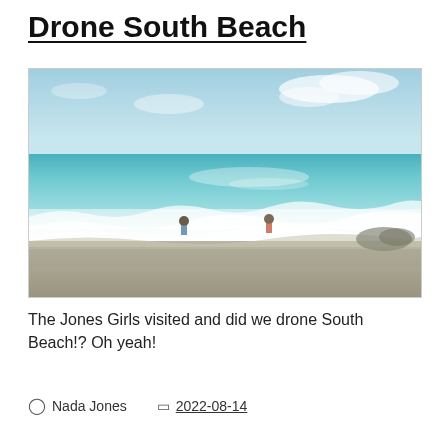Drone South Beach
[Figure (photo): Aerial/drone photo of South Beach with two people standing in the ocean waves. Light blue sky with clouds in the upper portion, turquoise and white-capped waves in the middle, and sandy/rocky shore in the foreground.]
The Jones Girls visited and did we drone South Beach!? Oh yeah!
Nada Jones   2022-08-14